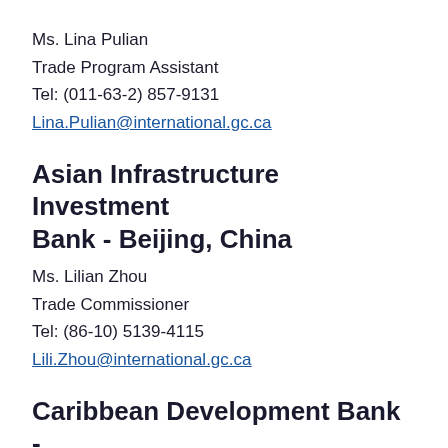Ms. Lina Pulian
Trade Program Assistant
Tel: (011-63-2) 857-9131
Lina.Pulian@international.gc.ca
Asian Infrastructure Investment Bank - Beijing, China
Ms. Lilian Zhou
Trade Commissioner
Tel: (86-10) 5139-4115
Lili.Zhou@international.gc.ca
Caribbean Development Bank -